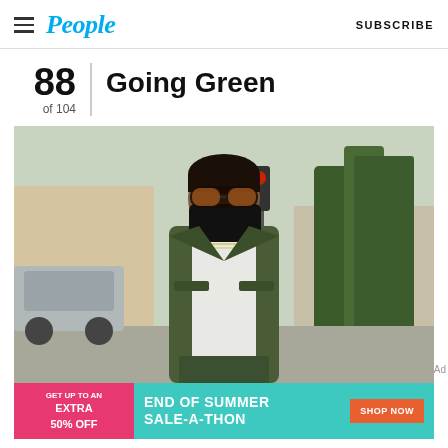People | SUBSCRIBE
Going Green
88 of 104
[Figure (photo): Man wearing a black face mask, orange-tinted sunglasses, olive green jacket over a white t-shirt with layered necklaces, walking outdoors on a city street with trees and cars in background]
Ad
[Figure (infographic): Advertisement banner: GET UP TO AN EXTRA 50% OFF | END OF SUMMER SALE-A-THON | SHOP NOW]